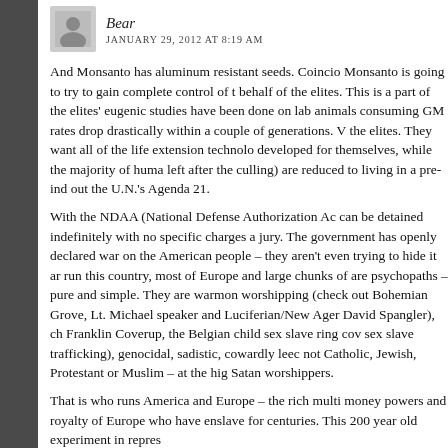Bear
JANUARY 29, 2012 AT 8:19 AM
And Monsanto has aluminum resistant seeds. Coincio Monsanto is going to try to gain complete control of t behalf of the elites. This is a part of the elites' eugenic studies have been done on lab animals consuming GM rates drop drastically within a couple of generations. the elites. They want all of the life extension technolo developed for themselves, while the majority of huma left after the culling) are reduced to living in a pre-ind out the U.N.'s Agenda 21.
With the NDAA (National Defense Authorization Ac can be detained indefinitely with no specific charges a jury. The government has openly declared war on the American people – they aren't even trying to hide it ar run this country, most of Europe and large chunks of are psychopaths – pure and simple. They are warmon worshipping (check out Bohemian Grove, Lt. Michael speaker and Luciferian/New Ager David Spangler), ch Franklin Coverup, the Belgian child sex slave ring cov sex slave trafficking), genocidal, sadistic, cowardly leec not Catholic, Jewish, Protestant or Muslim – at the hig Satan worshippers.
That is who runs America and Europe – the rich multi money powers and royalty of Europe who have enslave for centuries. This 200 year old experiment in repres